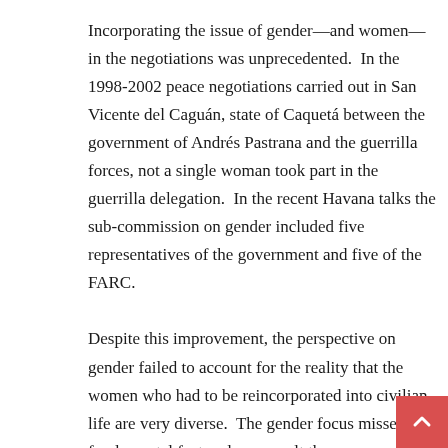Incorporating the issue of gender—and women—in the negotiations was unprecedented. In the 1998-2002 peace negotiations carried out in San Vicente del Caguán, state of Caquetá between the government of Andrés Pastrana and the guerrilla forces, not a single woman took part in the guerrilla delegation. In the recent Havana talks the sub-commission on gender included five representatives of the government and five of the FARC.
Despite this improvement, the perspective on gender failed to account for the reality that the women who had to be reincorporated into civilian life are very diverse. The gender focus missed this fundamental fact and as a result the